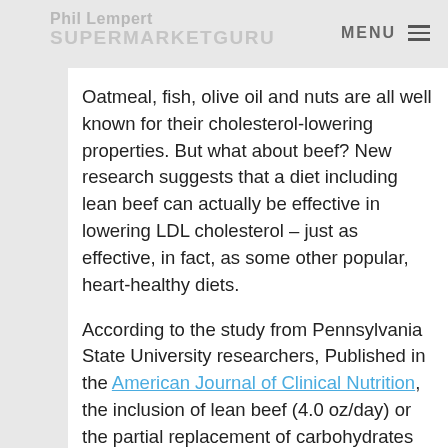Phil Lempert SUPERMARKETGURU MENU
Oatmeal, fish, olive oil and nuts are all well known for their cholesterol-lowering properties. But what about beef? New research suggests that a diet including lean beef can actually be effective in lowering LDL cholesterol – just as effective, in fact, as some other popular, heart-healthy diets.
According to the study from Pennsylvania State University researchers, Published in the American Journal of Clinical Nutrition, the inclusion of lean beef (4.0 oz/day) or the partial replacement of carbohydrates with protein (including lean beef) in a low-saturated fat diet, significantly decreased LDL cholesterol. Despite commonly held beliefs about beef, study participants experienced a 10 percent decrease in LDL cholesterol from the start of the study, while consuming diets